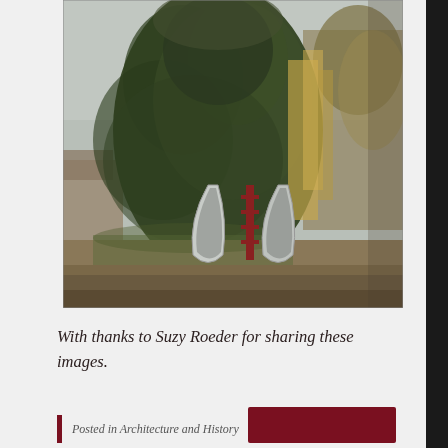[Figure (photo): Photograph of a ruined stone windmill tower heavily covered in ivy and climbing plants. At the base, large curved metal pieces (mill sails/vanes) lean against the structure. The scene is outdoors with dry ground and other trees visible.]
With thanks to Suzy Roeder for sharing these images.
Posted in Architecture and History